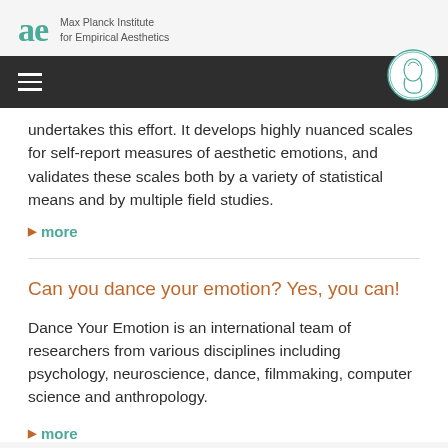Max Planck Institute for Empirical Aesthetics
undertakes this effort. It develops highly nuanced scales for self-report measures of aesthetic emotions, and validates these scales both by a variety of statistical means and by multiple field studies.
▶ more
Can you dance your emotion? Yes, you can!
Dance Your Emotion is an international team of researchers from various disciplines including psychology, neuroscience, dance, filmmaking, computer science and anthropology.
▶ more